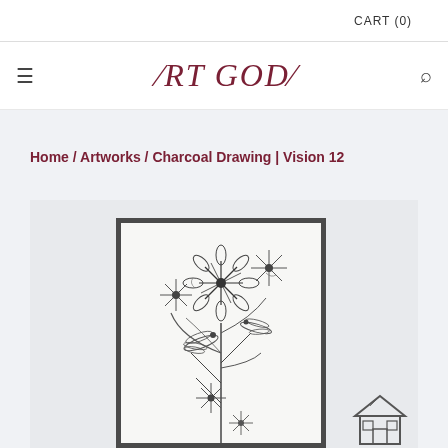CART (0)
ART GODA
Home / Artworks / Charcoal Drawing | Vision 12
[Figure (photo): Framed charcoal drawing of flowers and birds titled Vision 12, displayed against a light grey background with a small house icon at bottom right]